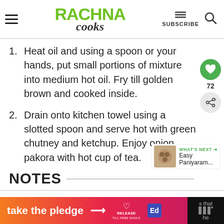RACHNA COOKS — SUBSCRIBE
1. Heat oil and using a spoon or your hands, put small portions of mixture into medium hot oil. Fry till golden brown and cooked inside.
2. Drain onto kitchen towel using a slotted spoon and serve hot with green chutney and ketchup. Enjoy onion pakora with hot cup of tea.
NOTES
[Figure (screenshot): Bottom ad banner: take the pledge → RELEASE / Ed logo / dark right section]
WHAT'S NEXT → Easy Paniyaram...